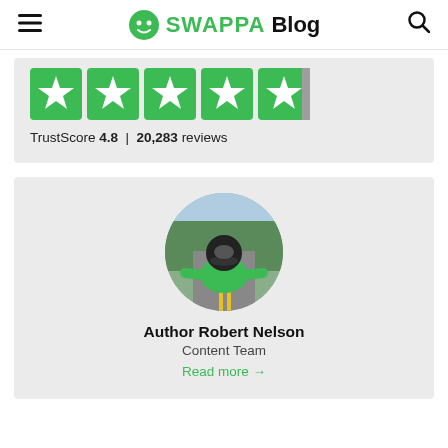SWAPPA Blog
[Figure (screenshot): Trustpilot star rating widget showing 5 green stars with TrustScore 4.8 and 20,283 reviews]
TrustScore 4.8 | 20,283 reviews
[Figure (photo): Circular profile photo of Author Robert Nelson wearing a green Swappa t-shirt and helmet on a road]
Author Robert Nelson
Content Team
Read more →